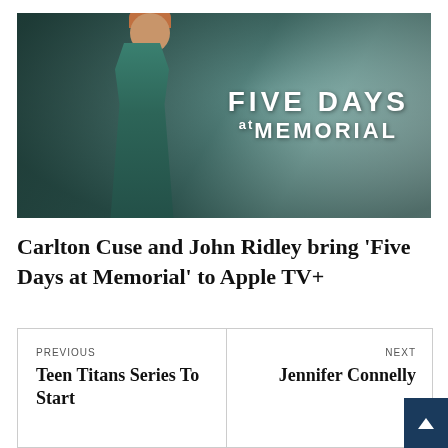[Figure (photo): Promotional image for 'Five Days at Memorial' showing a nurse in teal scrubs standing in a hospital corridor with the show title text overlay reading 'FIVE DAYS at MEMORIAL']
Carlton Cuse and John Ridley bring ‘Five Days at Memorial’ to Apple TV+
PREVIOUS
Teen Titans Series To Start
NEXT
Jennifer Connelly